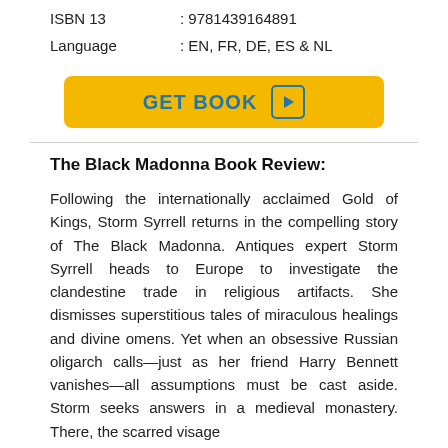ISBN 13 : 9781439164891
Language : EN, FR, DE, ES & NL
[Figure (other): Yellow GET BOOK button with play icon]
The Black Madonna Book Review:
Following the internationally acclaimed Gold of Kings, Storm Syrrell returns in the compelling story of The Black Madonna. Antiques expert Storm Syrrell heads to Europe to investigate the clandestine trade in religious artifacts. She dismisses superstitious tales of miraculous healings and divine omens. Yet when an obsessive Russian oligarch calls—just as her friend Harry Bennett vanishes—all assumptions must be cast aside. Storm seeks answers in a medieval monastery. There, the scarred visage